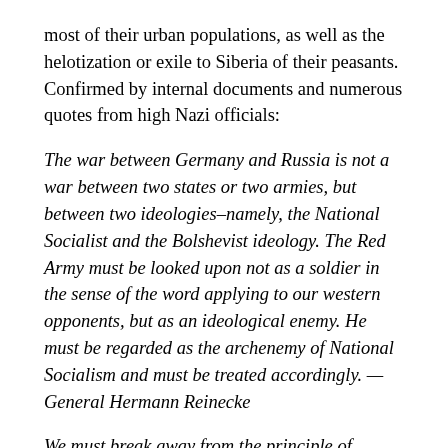most of their urban populations, as well as the helotization or exile to Siberia of their peasants. Confirmed by internal documents and numerous quotes from high Nazi officials:
The war between Germany and Russia is not a war between two states or two armies, but between two ideologies–namely, the National Socialist and the Bolshevist ideology. The Red Army must be looked upon not as a soldier in the sense of the word applying to our western opponents, but as an ideological enemy. He must be regarded as the archenemy of National Socialism and must be treated accordingly. — General Hermann Reinecke
We must break away from the principle of soldierly comradeship. The communist has been and will be no comrade. We are dealing with a struggle of annihilation. — Adolf Hitler
Some 3.3mn Soviet POWs died in the Nazi custody out of